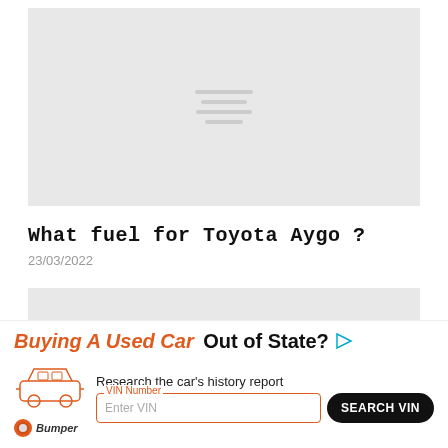[Figure (illustration): Large grey placeholder image box with hamburger menu icon lines centered in grey]
What fuel for Toyota Aygo ?
23/03/2022
[Figure (illustration): Small grey placeholder image box]
[Figure (infographic): Advertisement banner: Buying A Used Car Out of State? Research the car's history report. VIN Number input field. SEARCH VIN button. Bumper logo.]